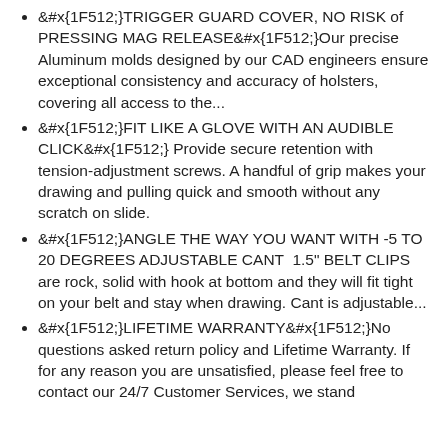🔒TRIGGER GUARD COVER, NO RISK of PRESSING MAG RELEASE🔒Our precise Aluminum molds designed by our CAD engineers ensure exceptional consistency and accuracy of holsters, covering all access to the...
🔒FIT LIKE A GLOVE WITH AN AUDIBLE CLICK🔒 Provide secure retention with tension-adjustment screws. A handful of grip makes your drawing and pulling quick and smooth without any scratch on slide.
🔒ANGLE THE WAY YOU WANT WITH -5 TO 20 DEGREES ADJUSTABLE CANT  1.5" BELT CLIPS are rock, solid with hook at bottom and they will fit tight on your belt and stay when drawing. Cant is adjustable...
🔒LIFETIME WARRANTY🔒No questions asked return policy and Lifetime Warranty. If for any reason you are unsatisfied, please feel free to contact our 24/7 Customer Services, we stand